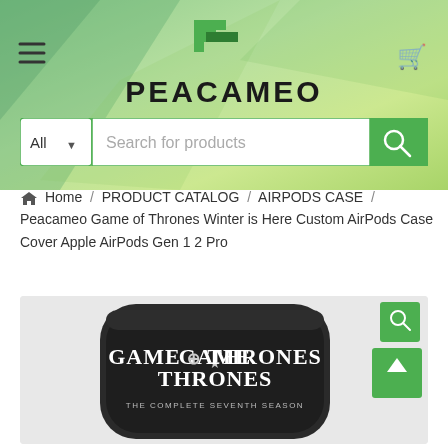[Figure (logo): Peacameo logo with green pixel-style icon and bold text PEACAMEO]
[Figure (screenshot): Search bar with 'All' dropdown and 'Search for products' placeholder and green search button]
Home / PRODUCT CATALOG / AIRPODS CASE / Peacameo Game of Thrones Winter is Here Custom AirPods Case Cover Apple AirPods Gen 1 2 Pro
[Figure (photo): AirPods case with Game of Thrones The Complete Seventh Season design showing GOT logo text on dark case]